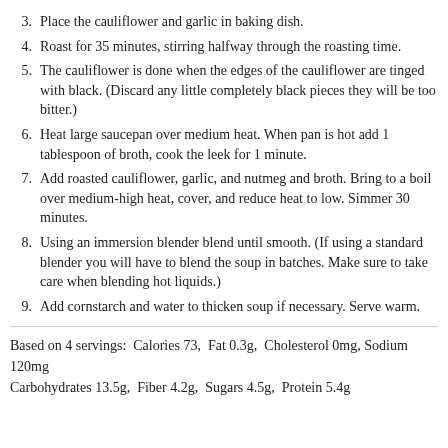3. Place the cauliflower and garlic in baking dish.
4. Roast for 35 minutes, stirring halfway through the roasting time.
5. The cauliflower is done when the edges of the cauliflower are tinged with black. (Discard any little completely black pieces they will be too bitter.)
6. Heat large saucepan over medium heat. When pan is hot add 1 tablespoon of broth, cook the leek for 1 minute.
7. Add roasted cauliflower, garlic, and nutmeg and broth. Bring to a boil over medium-high heat, cover, and reduce heat to low. Simmer 30 minutes.
8. Using an immersion blender blend until smooth. (If using a standard blender you will have to blend the soup in batches. Make sure to take care when blending hot liquids.)
9. Add cornstarch and water to thicken soup if necessary. Serve warm.
Based on 4 servings:  Calories 73,  Fat 0.3g,  Cholesterol 0mg, Sodium 120mg
Carbohydrates 13.5g,  Fiber 4.2g,  Sugars 4.5g,  Protein 5.4g